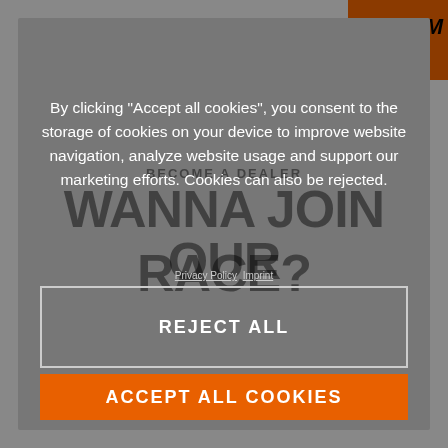[Figure (logo): KTM logo in top-right corner, dark orange/brown background with black KTM text]
BECOME A DEALER
WANNA JOIN OUR RACE?
By clicking “Accept all cookies”, you consent to the storage of cookies on your device to improve website navigation, analyze website usage and support our marketing efforts. Cookies can also be rejected.
Privacy Policy  Imprint
REJECT ALL
ACCEPT ALL COOKIES